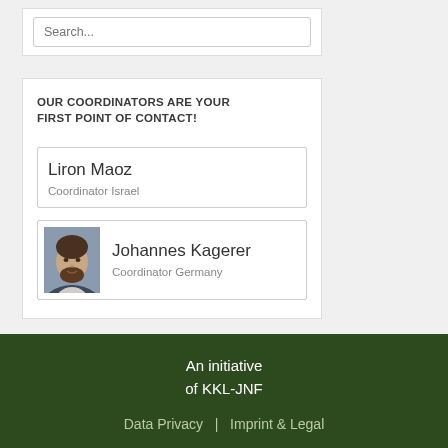Search...
OUR COORDINATORS ARE YOUR FIRST POINT OF CONTACT!
Liron Maoz
Coordinator Israel
[Figure (photo): Portrait photo of Johannes Kagerer]
Johannes Kagerer
Coordinator Germany
An initiative of KKL-JNF
Data Privacy  |  Imprint & Legal